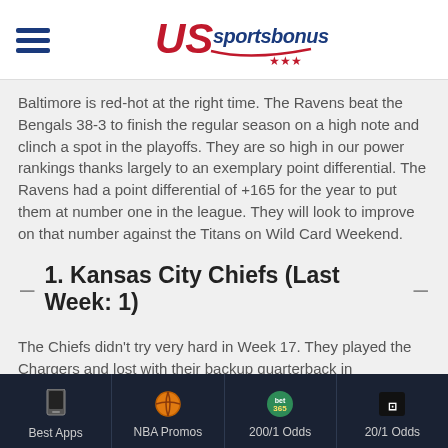US sportsbonus (logo)
Baltimore is red-hot at the right time. The Ravens beat the Bengals 38-3 to finish the regular season on a high note and clinch a spot in the playoffs. They are so high in our power rankings thanks largely to an exemplary point differential. The Ravens had a point differential of +165 for the year to put them at number one in the league. They will look to improve on that number against the Titans on Wild Card Weekend.
1. Kansas City Chiefs (Last Week: 1)
The Chiefs didn't try very hard in Week 17. They played the Chargers and lost with their backup quarterback in
Best Apps | NBA Promos | 200/1 Odds | 20/1 Odds